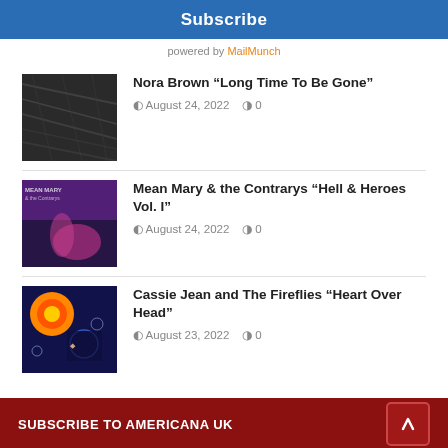Subscribe
powered by MailMunch
Nora Brown “Long Time To Be Gone”
August 24, 2022   0
Mean Mary & the Contrarys “Hell & Heroes Vol. I”
August 24, 2022   0
Cassie Jean and The Fireflies “Heart Over Head”
August 23, 2022   0
SUBSCRIBE TO AMERICANA UK